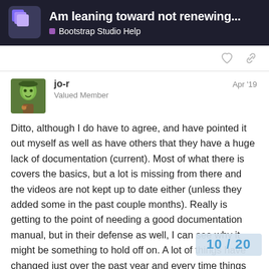Am leaning toward not renewing... | Bootstrap Studio Help
jo-r
Valued Member
Apr '19
Ditto, although I do have to agree, and have pointed it out myself as well as have others that they have a huge lack of documentation (current). Most of what there is covers the basics, but a lot is missing from there and the videos are not kept up to date either (unless they added some in the past couple months). Really is getting to the point of needing a good documentation manual, but in their defense as well, I can see why it might be something to hold off on. A lot of things have changed just over the past year and every time things change they have to be rewritten.
Either way, there "is" documentation that will get you a good start and show you some of the more com such as the Linked Components which is c
10 / 20